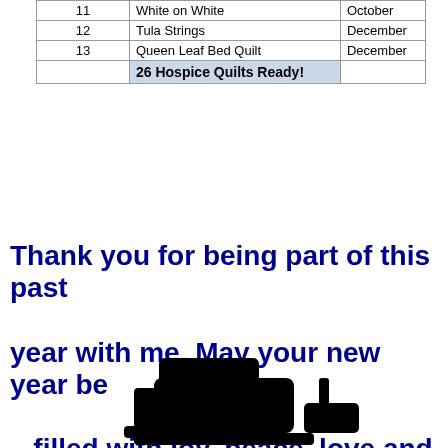| 11 | White on White | October |
| 12 | Tula Strings | December |
| 13 | Queen Leaf Bed Quilt | December |
|  | 26 Hospice Quilts Ready! |  |
Thank you for being part of this past year with me. May your new year be filled with joy, peace, love and creativity!
[Figure (illustration): Silhouette of a sewing machine in black]